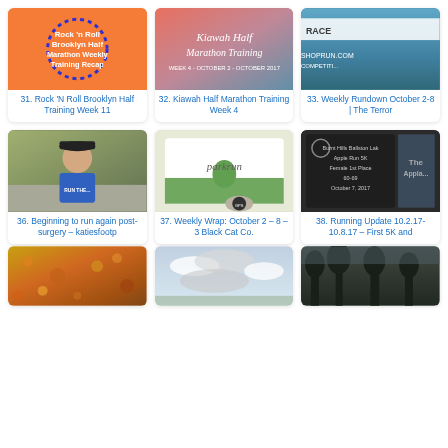[Figure (photo): Orange thumbnail with blue dotted circle and text: Rock 'n Roll Brooklyn Half Marathon Weekly Training Recap]
31. Rock 'N Roll Brooklyn Half Training Week 11
[Figure (photo): Salmon/coral colored thumbnail with cursive text: Kiawah Half Marathon Training]
32. Kiawah Half Marathon Training Week 4
[Figure (photo): Photo of race banner outdoors - partially visible]
33. Weekly Rundown October 2-8 | The Terror
[Figure (photo): Selfie photo of woman in blue sleeveless top and black cap outdoors]
36. Beginning to run again post-surgery – katiesfootp
[Figure (photo): Photo of parkrun card/sign with logo held in hand showing GPS watch]
37. Weekly Wrap: October 2 – 8 – 3 Black Cat Co.
[Figure (photo): Photo of dark award plaque reading Burnt Hills Ballston Lake Apple Run 5K Female 1st Place 60-69 October 7, 2017]
38. Running Update 10.2.17-10.8.17 – First 5K and
[Figure (photo): Photo of colorful autumn leaves on ground]
[Figure (photo): Photo of cloudy sky]
[Figure (photo): Dark photo of trees/landscape silhouette]